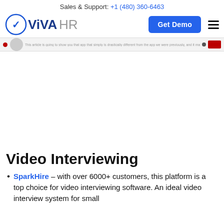Sales & Support: +1 (480) 360-6463
[Figure (logo): VivaHR logo with circular V icon in blue, VIVA in dark blue bold, HR in grey]
[Figure (screenshot): Blurred website banner/screenshot strip showing text and interface elements]
Video Interviewing
SparkHire – with over 6000+ customers, this platform is a top choice for video interviewing software. An ideal video interview system for small